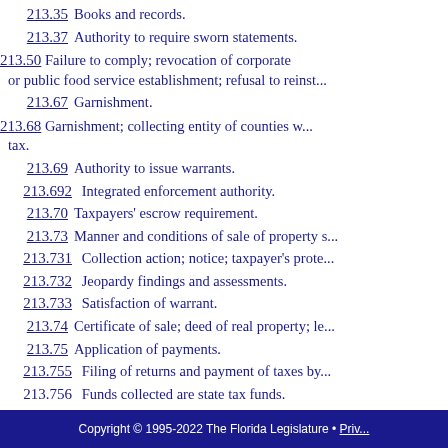213.35  Books and records.
213.37  Authority to require sworn statements.
213.50  Failure to comply; revocation of corporate or public food service establishment; refusal to reinst...
213.67  Garnishment.
213.68  Garnishment; collecting entity of counties w... tax.
213.69  Authority to issue warrants.
213.692  Integrated enforcement authority.
213.70  Taxpayers' escrow requirement.
213.73  Manner and conditions of sale of property s...
213.731  Collection action; notice; taxpayer's prote...
213.732  Jeopardy findings and assessments.
213.733  Satisfaction of warrant.
213.74  Certificate of sale; deed of real property; le...
213.75  Application of payments.
213.755  Filing of returns and payment of taxes by...
213.756  Funds collected are state tax funds.
213.757  Willful failure to pay over funds or destru...
213.758  Transfer of tax liabilities.
Copyright © 1995-2022 The Florida Legislature • Priv...